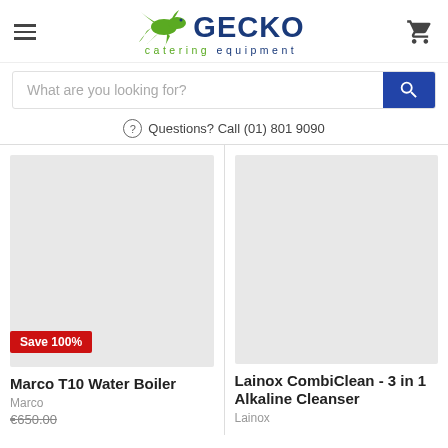[Figure (logo): Gecko Catering Equipment logo with gecko lizard graphic and blue/green text]
What are you looking for?
Questions? Call (01) 801 9090
[Figure (photo): Marco T10 Water Boiler product image placeholder (gray box)]
Save 100%
Marco T10 Water Boiler
Marco
€650.00
[Figure (photo): Lainox CombiClean - 3 in 1 Alkaline Cleanser product image placeholder (gray box)]
Lainox CombiClean - 3 in 1 Alkaline Cleanser
Lainox